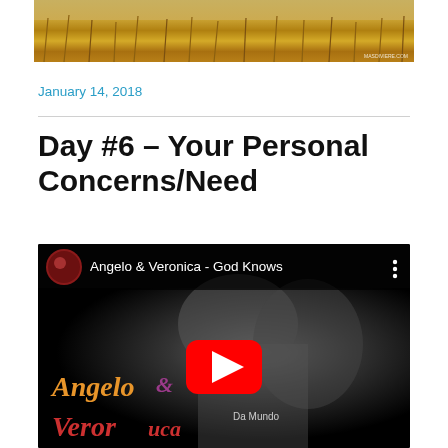[Figure (photo): Golden wheat field header image with watermark 'MASDIVIERE.COM' in bottom right]
January 14, 2018
Day #6 – Your Personal Concerns/Need
[Figure (screenshot): YouTube video embed showing 'Angelo & Veronica - God Knows' with YouTube play button overlay. Video thumbnail shows couple in black and white with Angelo & Veronica text in orange and red script.]